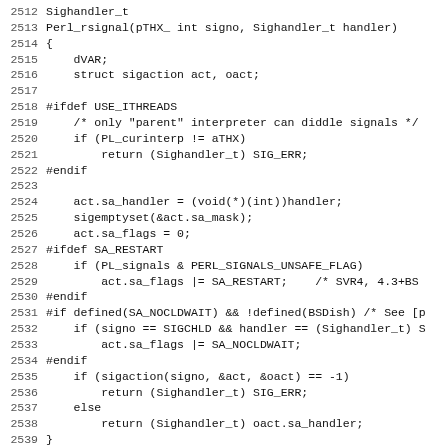[Figure (screenshot): C/Perl source code listing with line numbers 2512-2544, showing the Perl_rsignal and Perl_rsignal_state function definitions in monospace font on white background.]